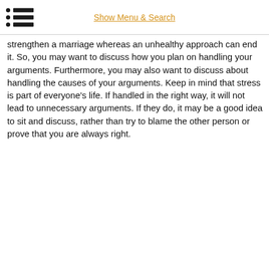Show Menu & Search
strengthen a marriage whereas an unhealthy approach can end it. So, you may want to discuss how you plan on handling your arguments. Furthermore, you may also want to discuss about handling the causes of your arguments. Keep in mind that stress is part of everyone's life. If handled in the right way, it will not lead to unnecessary arguments. If they do, it may be a good idea to sit and discuss, rather than try to blame the other person or prove that you are always right.
* Courtesy of www.uncoverdiscover.com
Gallery
[Figure (photo): Wedding cake topper figurines of bride and groom]
Tags